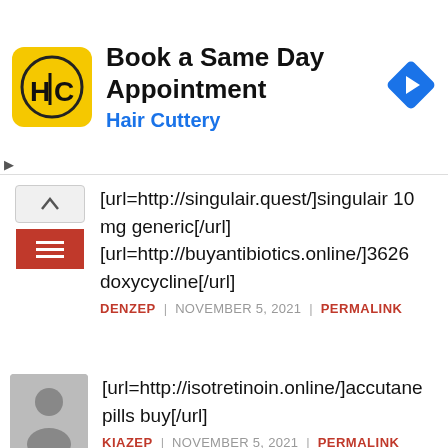[Figure (screenshot): Hair Cuttery advertisement banner with logo, 'Book a Same Day Appointment' heading and blue navigation arrow icon]
[url=http://singulair.quest/]singulair 10 mg generic[/url] [url=http://buyantibiotics.online/]3626 doxycycline[/url]
DENZEP | NOVEMBER 5, 2021 | PERMALINK
[url=http://isotretinoin.online/]accutane pills buy[/url]
KIAZEP | NOVEMBER 5, 2021 | PERMALINK
[url=https://viagradans.com/]generic